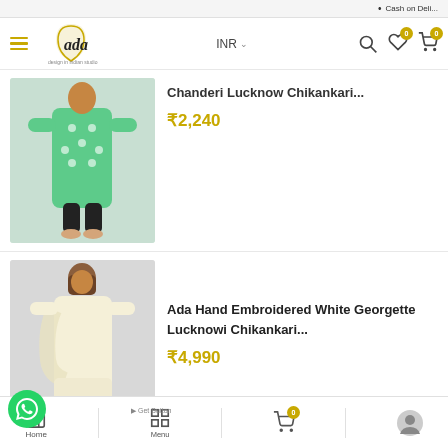Cash on Deli...
[Figure (screenshot): Ada brand logo with golden arch icon and hamburger menu, INR currency selector, search, wishlist and cart icons in navigation bar]
Chanderi Lucknow Chikankari...
₹2,240
[Figure (photo): Woman wearing a green printed Chanderi Lucknow Chikankari kurti with white prints, paired with black cropped pants]
[Figure (photo): Woman wearing a light yellow/off-white Ada Hand Embroidered Georgette Lucknowi Chikankari suit with dupatta]
Ada Hand Embroidered White Georgette Lucknowi Chikankari...
₹4,990
Home  Menu  Cart (0)  Profile